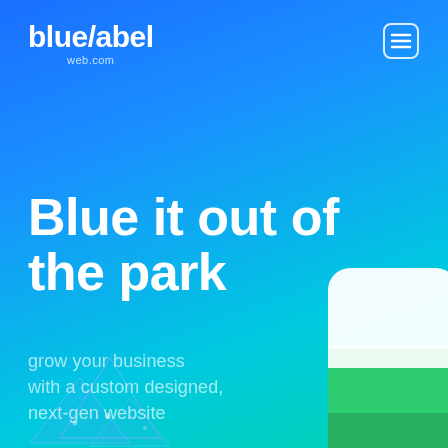[Figure (logo): blue/abel web.com logo in white text, top left]
[Figure (illustration): Hamburger menu icon (three horizontal lines) in white, top right, inside a rounded rectangle outline]
Blue it out of the park
grow your business with a custom designed, next-gen website
[Figure (illustration): Geometric blue triangle/diamond shapes in bottom left corner, decorative]
[Figure (illustration): Green and white rounded phone/app mockup card, bottom right corner]